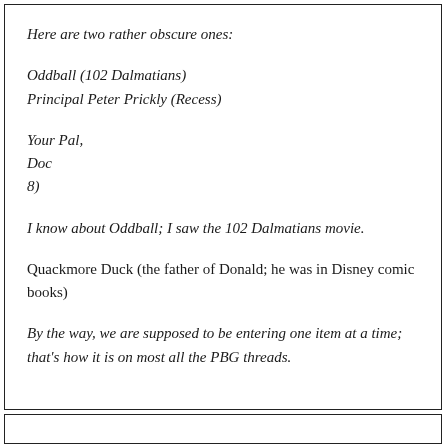Here are two rather obscure ones:
Oddball (102 Dalmatians)
Principal Peter Prickly (Recess)
Your Pal,
Doc
8)
I know about Oddball; I saw the 102 Dalmatians movie.
Quackmore Duck (the father of Donald; he was in Disney comic books)
By the way, we are supposed to be entering one item at a time; that's how it is on most all the PBG threads.